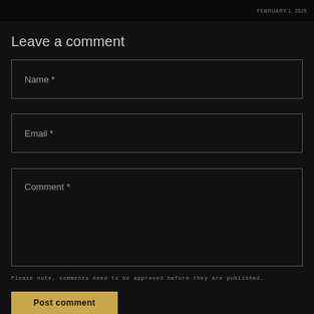FEBRUARY 1, 2025
Leave a comment
Name *
Email *
Comment *
Please note, comments need to be approved before they are published.
Post comment